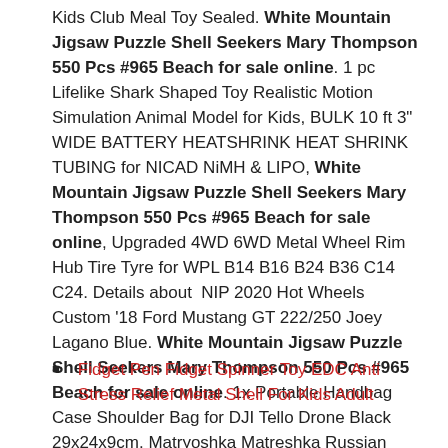Kids Club Meal Toy Sealed. White Mountain Jigsaw Puzzle Shell Seekers Mary Thompson 550 Pcs #965 Beach for sale online. 1 pc Lifelike Shark Shaped Toy Realistic Motion Simulation Animal Model for Kids, BULK 10 ft 3" WIDE BATTERY HEATSHRINK HEAT SHRINK TUBING for NICAD NiMH & LIPO, White Mountain Jigsaw Puzzle Shell Seekers Mary Thompson 550 Pcs #965 Beach for sale online, Upgraded 4WD 6WD Metal Wheel Rim Hub Tire Tyre for WPL B14 B16 B24 B36 C14 C24. Details about NIP 2020 Hot Wheels Custom '18 Ford Mustang GT 222/250 Joey Lagano Blue. White Mountain Jigsaw Puzzle Shell Seekers Mary Thompson 550 Pcs #965 Beach for sale online. 1x Portable Handbag Case Shoulder Bag for DJI Tello Drone Black 29x24x9cm. Matryoshka Matreshka Russian Nesting Doll Wood Blank Decoupage For Painting 6 Pc.
Fidget Pen Fidget Spinner Toy EDC Anti Stress Relief Metal Shell For Kids Adult